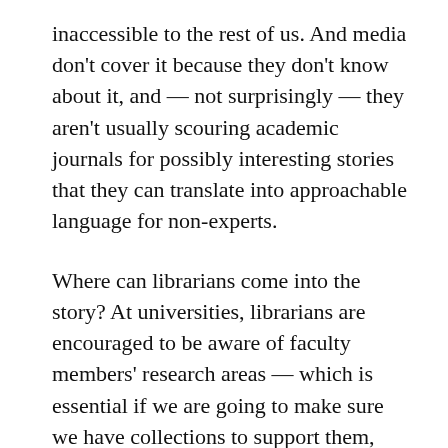inaccessible to the rest of us. And media don't cover it because they don't know about it, and — not surprisingly — they aren't usually scouring academic journals for possibly interesting stories that they can translate into approachable language for non-experts.
Where can librarians come into the story? At universities, librarians are encouraged to be aware of faculty members' research areas — which is essential if we are going to make sure we have collections to support them, and if we are going to have well-informed conversations about topics like scholarly publishing, copyright, open access, and so on.